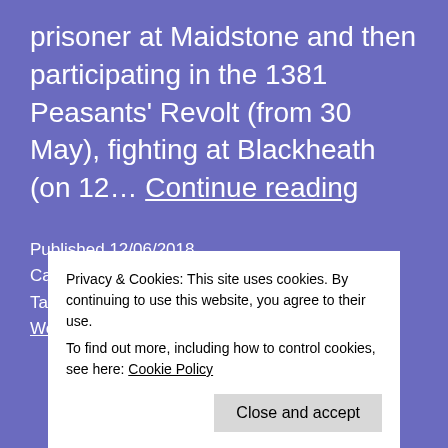prisoner at Maidstone and then participating in the 1381 Peasants' Revolt (from 30 May), fighting at Blackheath (on 12… Continue reading
Published 12/06/2018
Categorized as anniversaries, battles, buildings
Tagged Blackheath, Colchester, executions, JD Wetherspoon, John Ball, local history, Maidstone,
Privacy & Cookies: This site uses cookies. By continuing to use this website, you agree to their use.
To find out more, including how to control cookies, see here: Cookie Policy